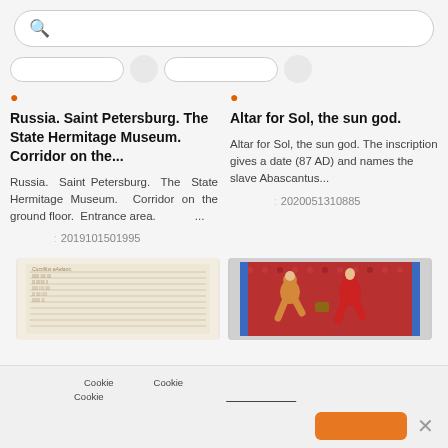🔍
filter pills row
Russia. Saint Petersburg. The State Hermitage Museum. Corridor on the...
Russia. Saint Petersburg. The State Hermitage Museum. Corridor on the ground floor. Entrance area.　　　...
: 2019101501995
Altar for Sol, the sun god.
Altar for Sol, the sun god. The inscription gives a date (87 AD) and names the slave Abascantus...
: 2020051310885
[Figure (photo): Manuscript page with handwritten text in brownish ink on parchment]
[Figure (photo): Medieval illuminated manuscript image showing figures on red patterned background]
Cookie　　　　Cookie　　　　　　　　　　　　　　　　　　　　　　　Cookie